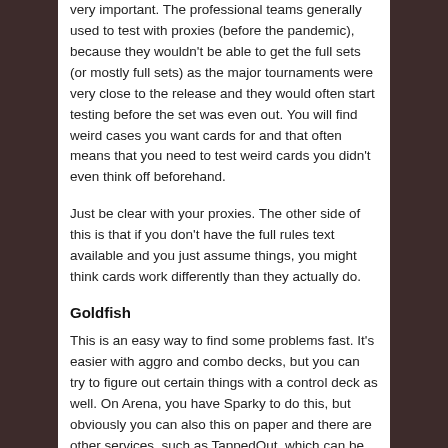very important. The professional teams generally used to test with proxies (before the pandemic), because they wouldn't be able to get the full sets (or mostly full sets) as the major tournaments were very close to the release and they would often start testing before the set was even out. You will find weird cases you want cards for and that often means that you need to test weird cards you didn't even think off beforehand.
Just be clear with your proxies. The other side of this is that if you don't have the full rules text available and you just assume things, you might think cards work differently than they actually do.
Goldfish
This is an easy way to find some problems fast. It's easier with aggro and combo decks, but you can try to figure out certain things with a control deck as well. On Arena, you have Sparky to do this, but obviously you can also this on paper and there are other services, such as TappedOut, which can be helpful as well. I like to use this especially to